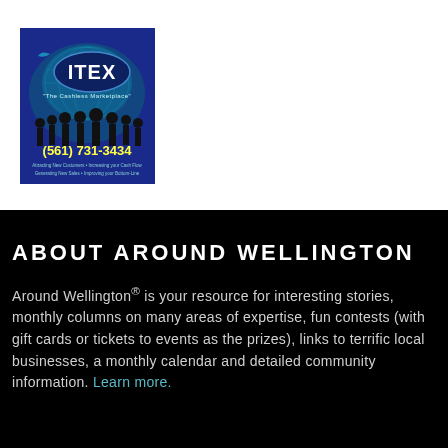[Figure (logo): ITEX 'The Cashless Marketplace' advertisement with phone number (561) 731-3434 and tagline text about attracting new customers, increasing cash flow, generating new sales, improving bottom line. Blue background with silhouettes of people.]
ABOUT AROUND WELLINGTON
Around Wellington® is your resource for interesting stories, monthly columns on many areas of expertise, fun contests (with gift cards or tickets to events as the prizes), links to terrific local businesses, a monthly calendar and detailed community information. Learn more.